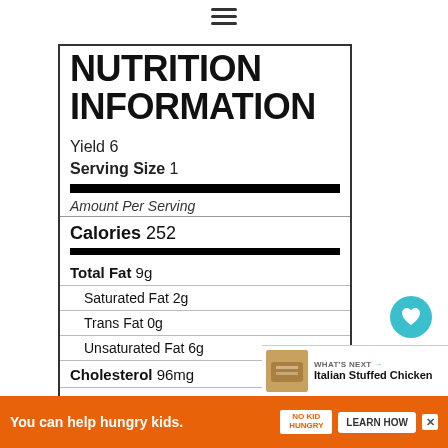NUTRITION INFORMATION
Yield 6
Serving Size 1
Amount Per Serving
Calories 252
Total Fat 9g
Saturated Fat 2g
Trans Fat 0g
Unsaturated Fat 6g
Cholesterol 96mg
Sodium 478mg
441
WHAT'S NEXT → Italian Stuffed Chicken
You can help hungry kids.
LEARN HOW